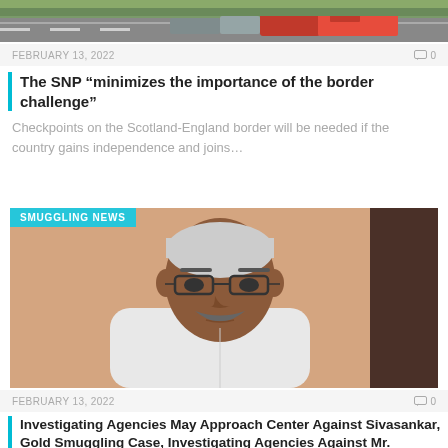[Figure (photo): Top cropped image of a road with trucks and vehicles, Scotland-England border scene]
FEBRUARY 13, 2022   💬 0
The SNP “minimizes the importance of the border challenge”
Checkpoints on the Scotland-England border will be needed if the country gains independence and joins…
[Figure (photo): Photo of a middle-aged Indian man with white hair and glasses, wearing a white shirt, serious expression. Badge: SMUGGLING NEWS]
FEBRUARY 13, 2022   💬 0
Investigating Agencies May Approach Center Against Sivasankar, Gold Smuggling Case, Investigating Agencies Against Mr.